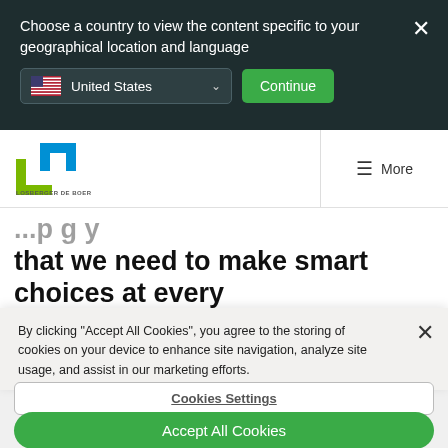Choose a country to view the content specific to your geographical location and language
[Figure (screenshot): Country selector dropdown showing United States with flag, and a Continue button]
[Figure (logo): Losberger De Boer logo - green and blue square icon with company name below]
that we need to make smart choices at every
By clicking “Accept All Cookies”, you agree to the storing of cookies on your device to enhance site navigation, analyze site usage, and assist in our marketing efforts.
Cookies Settings
Accept All Cookies